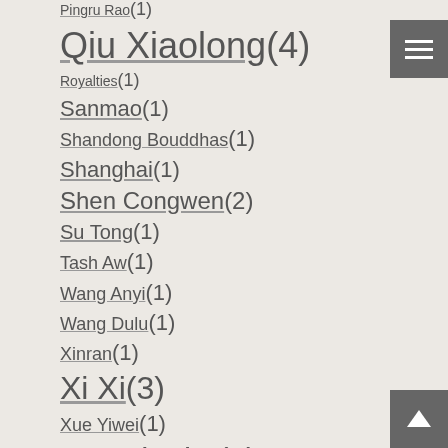Pingru Rao(1)
Qiu Xiaolong(4)
Royalties(1)
Sanmao(1)
Shandong Bouddhas(1)
Shanghai(1)
Shen Congwen(2)
Su Tong(1)
Tash Aw(1)
Wang Anyi(1)
Wang Dulu(1)
Xinran(1)
Xi Xi(3)
Xue Yiwei(1)
Yan Lianke(3)
Ye Zhaoyan(1)